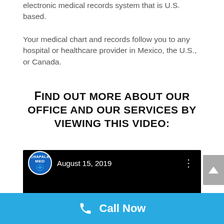electronic medical records system that is U.S. based.
Your medical chart and records follow you to any hospital or healthcare provider in Mexico, the U.S., or Canada.
Find out more about our office and our services by viewing this video:
[Figure (screenshot): Video embed showing Chapala Med logo with date August 15, 2019 on a black background]
Call Now